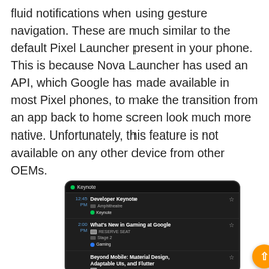fluid notifications when using gesture navigation. These are much similar to the default Pixel Launcher present in your phone. This is because Nova Launcher has used an API, which Google has made available in most Pixel phones, to make the transition from an app back to home screen look much more native. Unfortunately, this feature is not available on any other device from other OEMs.
[Figure (screenshot): A dark-themed Android app screenshot showing a schedule/calendar widget with entries: 12:45 PM Developer Keynote at Amphitheatre (Keynote tag), 2:00 PM What's New in Gaming at Google with RESERVE SEAT and Stage 2 (Gaming tag), Beyond Mobile: Material Design, Adaptable UIs, and Flutter with RESERVE SEAT and Stage 5. An orange floating action button with upward arrow is visible on the right side.]